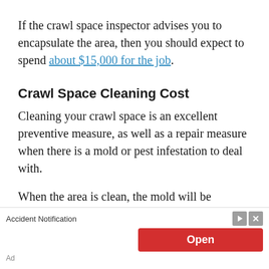If the crawl space inspector advises you to encapsulate the area, then you should expect to spend about $15,000 for the job.
Crawl Space Cleaning Cost
Cleaning your crawl space is an excellent preventive measure, as well as a repair measure when there is a mold or pest infestation to deal with.
When the area is clean, the mold will be removed and the other pests like rats and
[Figure (other): Advertisement overlay: Accident Notification ad with red Open button, arrow and close icons, and Ad label at bottom left.]